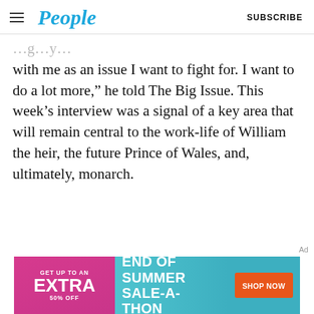People  SUBSCRIBE
with me as an issue I want to fight for. I want to do a lot more,” he told The Big Issue. This week’s interview was a signal of a key area that will remain central to the work-life of William the heir, the future Prince of Wales, and, ultimately, monarch.
[Figure (infographic): End of Summer Sale-A-Thon advertisement banner with pink/teal gradient background. Left section reads 'GET UP TO AN EXTRA 50% OFF'. Center reads 'END OF SUMMER SALE-A-THON'. Right has orange 'SHOP NOW' button.]